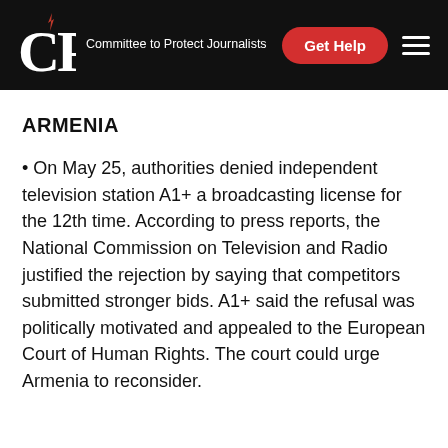CPJ — Committee to Protect Journalists
ARMENIA
• On May 25, authorities denied independent television station A1+ a broadcasting license for the 12th time. According to press reports, the National Commission on Television and Radio justified the rejection by saying that competitors submitted stronger bids. A1+ said the refusal was politically motivated and appealed to the European Court of Human Rights. The court could urge Armenia to reconsider.